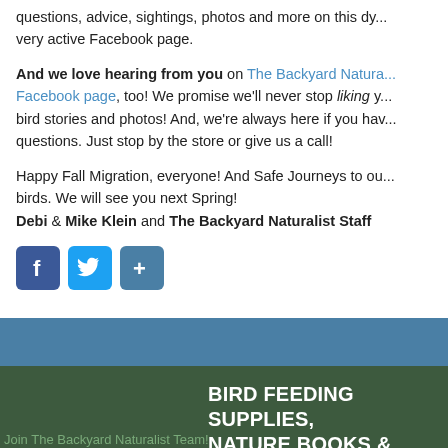questions, advice, sightings, photos and more on this dy... very active Facebook page.
And we love hearing from you on The Backyard Naturalist Facebook page, too! We promise we'll never stop liking your bird stories and photos! And, we're always here if you have questions. Just stop by the store or give us a call!
Happy Fall Migration, everyone! And Safe Journeys to our birds. We will see you next Spring! Debi & Mike Klein and The Backyard Naturalist Staff
[Figure (other): Social media share icons: Facebook, Twitter, and a share/plus button]
Join The Backyard Naturalist Team!
SITE MAP
BIRD FEEDING SUPPLIES, NATURE BOOKS & GIFTS